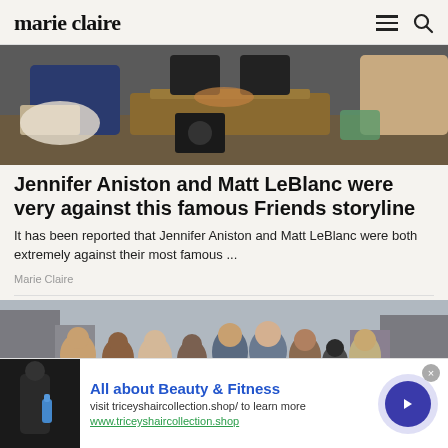marie claire
[Figure (photo): People sitting around a coffee table in a living room, seen from above, casual setting]
Jennifer Aniston and Matt LeBlanc were very against this famous Friends storyline
It has been reported that Jennifer Aniston and Matt LeBlanc were both extremely against their most famous ...
Marie Claire
[Figure (photo): Group of people standing together on a city street]
All about Beauty & Fitness
visit triceyshaircollection.shop/ to learn more
www.triceyshaircollection.shop